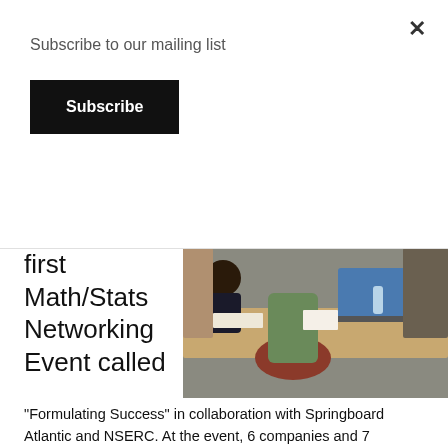Subscribe to our mailing list
Subscribe
first Math/Stats Networking Event called
[Figure (photo): People seated at desks in a conference or classroom setting, with laptops and papers on tables, chairs visible.]
“Formulating Success” in collaboration with Springboard Atlantic and NSERC. At the event, 6 companies and 7 researchers gave presentations on their research and experience with industry-academic collaborations; ACENET described how its resources can support research; and Acadia’s Office of Industry & Community Engagement outlined the many funding programs that support industry-academic research. Over 60 people attended and enjoyed